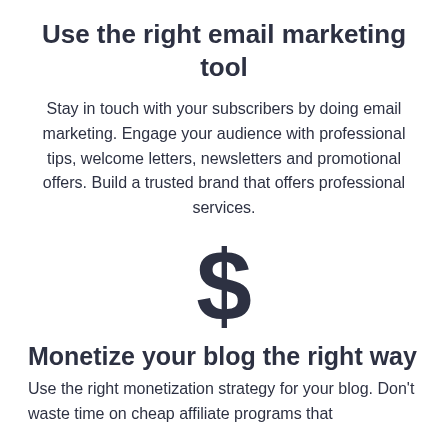Use the right email marketing tool
Stay in touch with your subscribers by doing email marketing. Engage your audience with professional tips, welcome letters, newsletters and promotional offers. Build a trusted brand that offers professional services.
[Figure (illustration): A large dollar sign icon centered on the page]
Monetize your blog the right way
Use the right monetization strategy for your blog. Don't waste time on cheap affiliate programs that